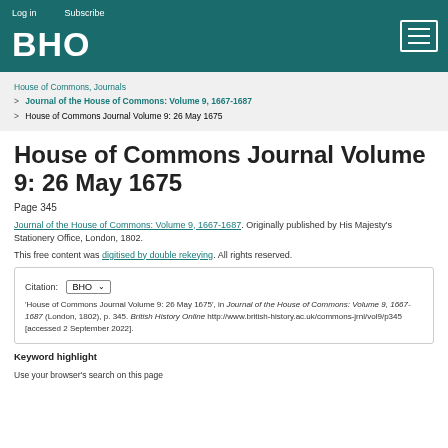Log in   Subscribe
BHO
House of Commons, Journals > Journal of the House of Commons: Volume 9, 1667-1687 > House of Commons Journal Volume 9: 26 May 1675
House of Commons Journal Volume 9: 26 May 1675
Page 345
Journal of the House of Commons: Volume 9, 1667-1687. Originally published by His Majesty's Stationery Office, London, 1802.
This free content was digitised by double rekeying. All rights reserved.
'House of Commons Journal Volume 9: 26 May 1675', in Journal of the House of Commons: Volume 9, 1667-1687 (London, 1802), p. 345. British History Online http://www.british-history.ac.uk/commons-jrnl/vol9/p345 [accessed 2 September 2022].
Keyword highlight
Use your browser's search on this page